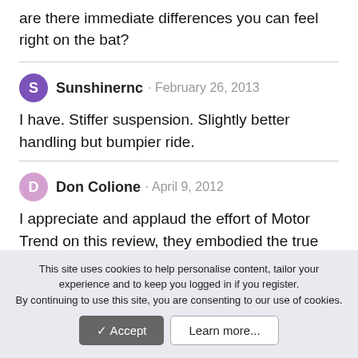are there immediate differences you can feel right on the bat?
Sunshinernc · February 26, 2013
I have. Stiffer suspension. Slightly better handling but bumpier ride.
Don Colione · April 9, 2012
I appreciate and applaud the effort of Motor Trend on this review, they embodied the true tenants of journalism with their truth, candor, and objectivity.   It's just good to see some truth for a change with these big car mags, and I hope they continue on this path.
It's not about being a "fan" of one brand or another, for
This site uses cookies to help personalise content, tailor your experience and to keep you logged in if you register.
By continuing to use this site, you are consenting to our use of cookies.